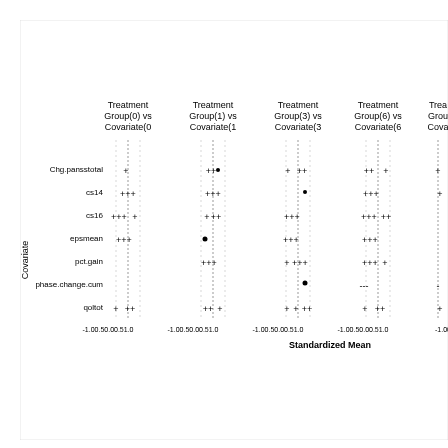[Figure (other): Love plot / standardized mean difference plot showing balance diagnostics across Treatment Groups (0, 1, 3, 6, and more) vs Covariate comparisons. Y-axis shows covariates: Chg.pansstotal, cs14, cs16, epsmean, pct.gain, phase.change.cum, qoltot. X-axis shows Standardized Mean Difference ranging from -1.0 to 1.0 for each panel. Multiple columns each representing a treatment group vs covariate comparison, with dotted vertical reference lines at 0 and plus/minus values. Data points shown as crosses and dots.]